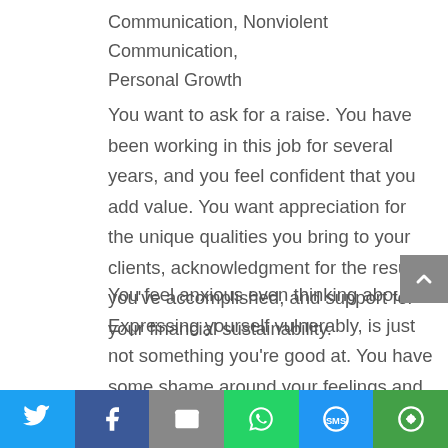Communication, Nonviolent Communication, Personal Growth
You want to ask for a raise. You have been working in this job for several years, and you feel confident that you add value. You want appreciation for the unique qualities you bring to your clients, acknowledgment for the results you've accomplished, and support for your financial sustainability.
You feel anxious even thinking about it. Expressing yourself vulnerably, is just not something you're good at. You have some shame around your feelings and needs, and